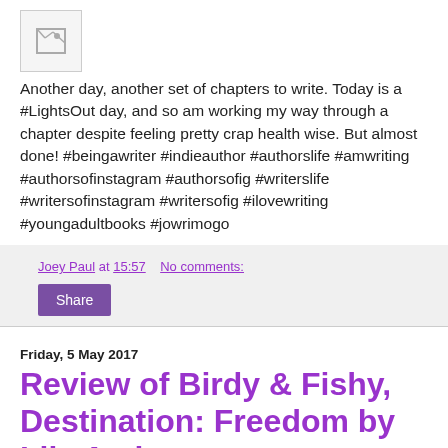[Figure (photo): Small placeholder image icon]
Another day, another set of chapters to write. Today is a #LightsOut day, and so am working my way through a chapter despite feeling pretty crap health wise. But almost done! #beingawriter #indieauthor #authorslife #amwriting #authorsofinstagram #authorsofig #writerslife #writersofinstagram #writersofig #ilovewriting #youngadultbooks #jowrimogo
Joey Paul at 15:57    No comments:
Share
Friday, 5 May 2017
Review of Birdy & Fishy, Destination: Freedom by Lily Amis
[Figure (photo): Book cover or author photo, partially visible at bottom of page]